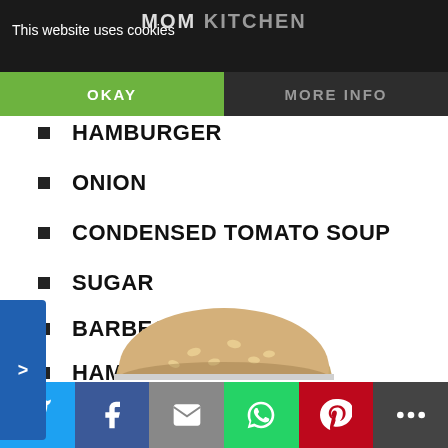This website uses cookies — MOM KITCHEN
OKAY
MORE INFO
HAMBURGER
ONION
CONDENSED TOMATO SOUP
SUGAR
BARBECUE SAUCE
HAMBURGER BUNS
AMERICAN CHEESE
[Figure (photo): Top of a hamburger bun, partially visible at the bottom of the page]
Social sharing buttons: Twitter, Facebook, Email, WhatsApp, Pinterest, More